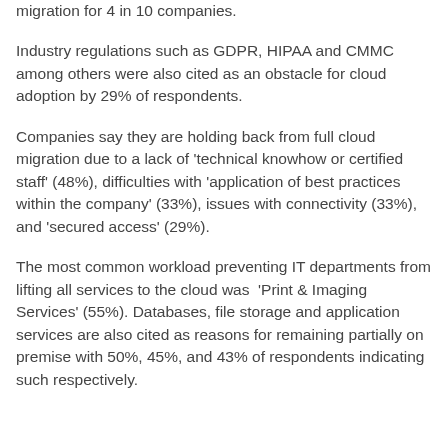migration for 4 in 10 companies.
Industry regulations such as GDPR, HIPAA and CMMC among others were also cited as an obstacle for cloud adoption by 29% of respondents.
Companies say they are holding back from full cloud migration due to a lack of 'technical knowhow or certified staff' (48%), difficulties with 'application of best practices within the company' (33%), issues with connectivity (33%), and 'secured access' (29%).
The most common workload preventing IT departments from lifting all services to the cloud was 'Print & Imaging Services' (55%). Databases, file storage and application services are also cited as reasons for remaining partially on premise with 50%, 45%, and 43% of respondents indicating such respectively.